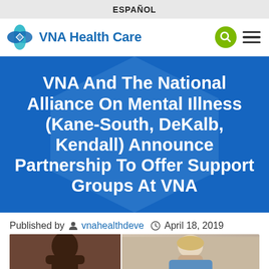ESPAÑOL
[Figure (logo): VNA Health Care logo with teal/blue flower icon and blue text, plus search and menu icons]
VNA And The National Alliance On Mental Illness (Kane-South, DeKalb, Kendall) Announce Partnership To Offer Support Groups At VNA
Published by  vnahealthdeve  April 18, 2019
[Figure (photo): Partial view of people, left panel shows a dark-skinned man, center shows a woman with light hair, right partially visible]